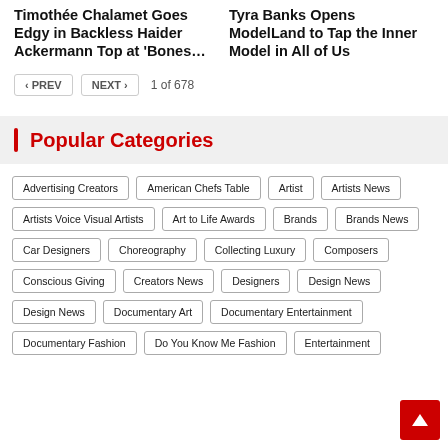Timothée Chalamet Goes Edgy in Backless Haider Ackermann Top at 'Bones…
Tyra Banks Opens ModelLand to Tap the Inner Model in All of Us
< PREV  NEXT >  1 of 678
Popular Categories
Advertising Creators
American Chefs Table
Artist
Artists News
Artists Voice Visual Artists
Art to Life Awards
Brands
Brands News
Car Designers
Choreography
Collecting Luxury
Composers
Conscious Giving
Creators News
Designers
Design News
Design News
Documentary Art
Documentary Entertainment
Documentary Fashion
Do You Know Me Fashion
Entertainment